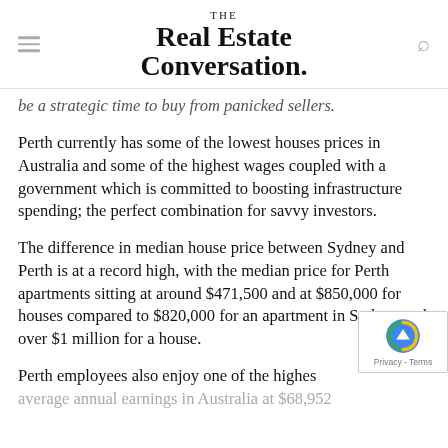THE Real Estate Conversation.
be a strategic time to buy from panicked sellers.
Perth currently has some of the lowest houses prices in Australia and some of the highest wages coupled with a government which is committed to boosting infrastructure spending; the perfect combination for savvy investors.
The difference in median house price between Sydney and Perth is at a record high, with the median price for Perth apartments sitting at around $471,500 and at $850,000 for houses compared to $820,000 for an apartment in Sydney and over $1 million for a house.
Perth employees also enjoy one of the highest average annual earnings in Australia at $68,952